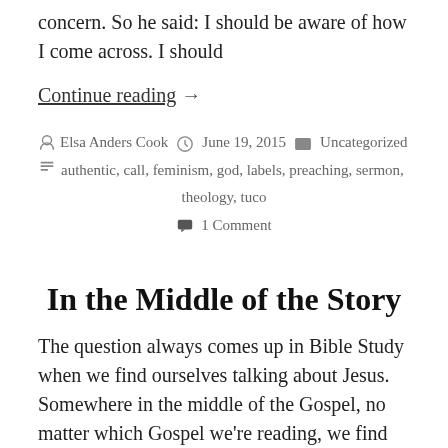concern. So he said: I should be aware of how I come across. I should
Continue reading →
By Elsa Anders Cook   June 19, 2015   Uncategorized   authentic, call, feminism, god, labels, preaching, sermon, theology, tuco   1 Comment
In the Middle of the Story
The question always comes up in Bible Study when we find ourselves talking about Jesus. Somewhere in the middle of the Gospel, no matter which Gospel we're reading, we find ourselves studying a particular